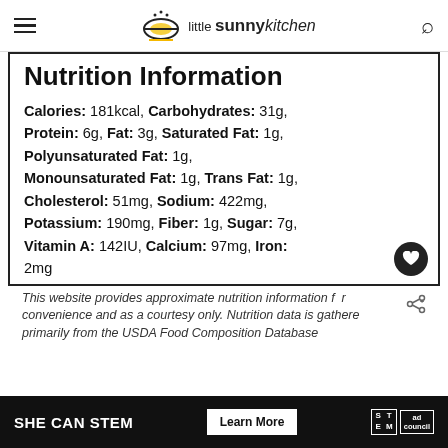little sunny kitchen
Nutrition Information
Calories: 181kcal, Carbohydrates: 31g, Protein: 6g, Fat: 3g, Saturated Fat: 1g, Polyunsaturated Fat: 1g, Monounsaturated Fat: 1g, Trans Fat: 1g, Cholesterol: 51mg, Sodium: 422mg, Potassium: 190mg, Fiber: 1g, Sugar: 7g, Vitamin A: 142IU, Calcium: 97mg, Iron: 2mg
This website provides approximate nutrition information for convenience and as a courtesy only. Nutrition data is gathered primarily from the USDA Food Composition Database.
[Figure (other): SHE CAN STEM advertisement banner with Learn More button and Ad Council logo]